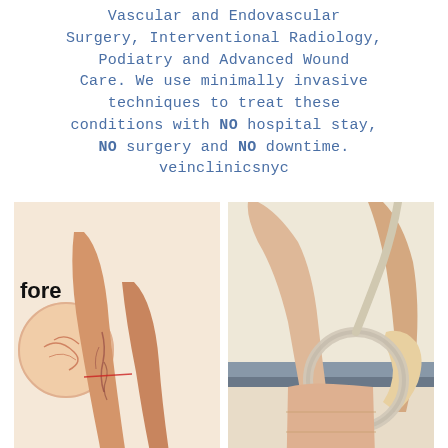Vascular and Endovascular Surgery, Interventional Radiology, Podiatry and Advanced Wound Care. We use minimally invasive techniques to treat these conditions with NO hospital stay, NO surgery and NO downtime. veinclinicsnyc
[Figure (photo): Two side-by-side medical photos. Left photo shows legs with visible varicose veins (before treatment). Right photo shows a leg being treated with ultrasound/compression therapy device.]